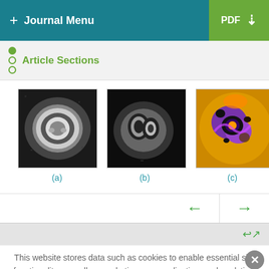+ Journal Menu | PDF
Article Sections
[Figure (photo): Three medical cardiac MRI images: (a) grayscale axial MRI of heart, (b) grayscale MRI of heart in different view, (c) colorized/false-color MRI of heart with orange, purple, and black]
(a)  (b)  (c)
This website stores data such as cookies to enable essential site functionality, as well as marketing, personalization, and analytics. By remaining on this website you indicate your consent. Cookie Policy